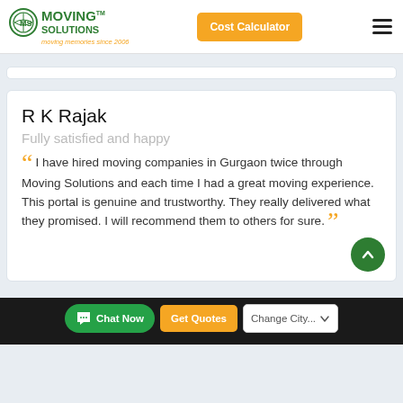Moving Solutions — moving memories since 2006 | Cost Calculator
R K Rajak
Fully satisfied and happy
I have hired moving companies in Gurgaon twice through Moving Solutions and each time I had a great moving experience. This portal is genuine and trustworthy. They really delivered what they promised. I will recommend them to others for sure.
Chat Now | Get Quotes | Change City...